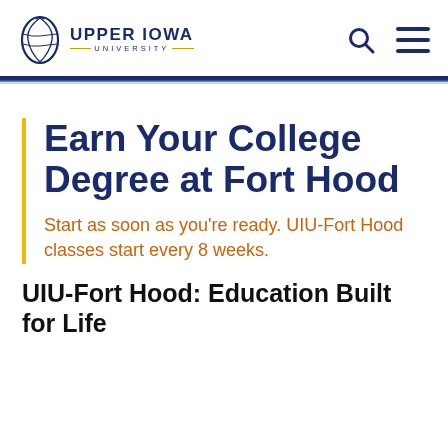[Figure (logo): Upper Iowa University logo with circular crest icon and text 'UPPER IOWA UNIVERSITY']
Earn Your College Degree at Fort Hood
Start as soon as you're ready. UIU-Fort Hood classes start every 8 weeks.
UIU-Fort Hood: Education Built for Life